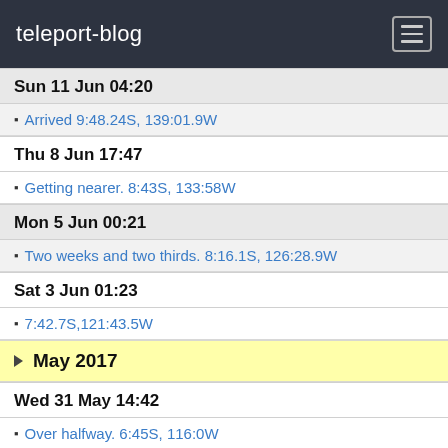teleport-blog
Sun 11 Jun 04:20
Arrived 9:48.24S, 139:01.9W
Thu 8 Jun 17:47
Getting nearer. 8:43S, 133:58W
Mon 5 Jun 00:21
Two weeks and two thirds. 8:16.1S, 126:28.9W
Sat 3 Jun 01:23
7:42.7S,121:43.5W
May 2017
Wed 31 May 14:42
Over halfway. 6:45S, 116:0W
Sat 27 May 23:42
Good Progress 5:14,3S, 108:22.3W
Thu 25 May 21:58
4:23.34S, 103:01.79W